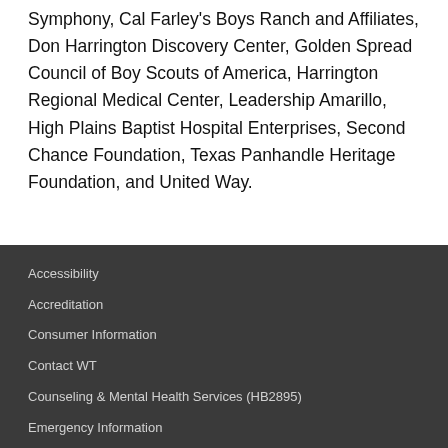Symphony, Cal Farley's Boys Ranch and Affiliates, Don Harrington Discovery Center, Golden Spread Council of Boy Scouts of America, Harrington Regional Medical Center, Leadership Amarillo, High Plains Baptist Hospital Enterprises, Second Chance Foundation, Texas Panhandle Heritage Foundation, and United Way.
Accessibility
Accreditation
Consumer Information
Contact WT
Counseling & Mental Health Services (HB2895)
Emergency Information